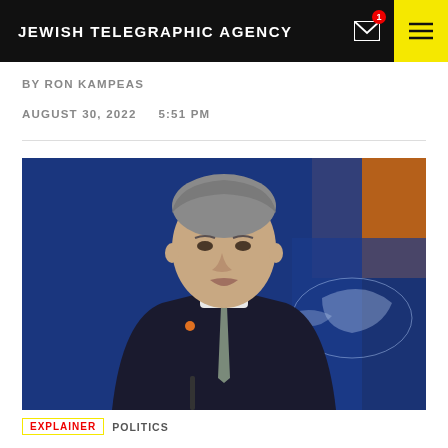JEWISH TELEGRAPHIC AGENCY
BY RON KAMPEAS
AUGUST 30, 2022    5:51 PM
[Figure (photo): A man in a dark suit with grey hair looking downward, appearing at a podium. Background has a blue world map and an orange/wood panel. This appears to be a State Department press briefing setting.]
EXPLAINER  POLITICS